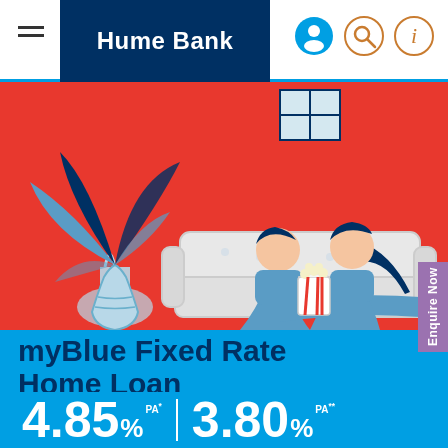Hume Bank
[Figure (illustration): Illustration of a couple sitting on a couch watching content, with a large plant in a vase on the left, on a red background. Website screenshot of Hume Bank myBlue Fixed Rate Home Loan page.]
myBlue Fixed Rate Home Loan
4.85% PA* | 3.80% PA**
Enquire Now